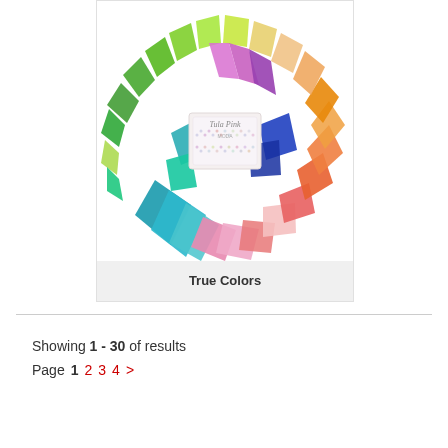[Figure (photo): A circular arrangement of colorful fabric swatches in various patterns and colors (green, yellow, purple, blue, orange, pink, red, teal) fanned out in a circle, with a fabric bundle labeled in the center.]
True Colors
Showing 1 - 30 of results
Page  1  2  3  4  >